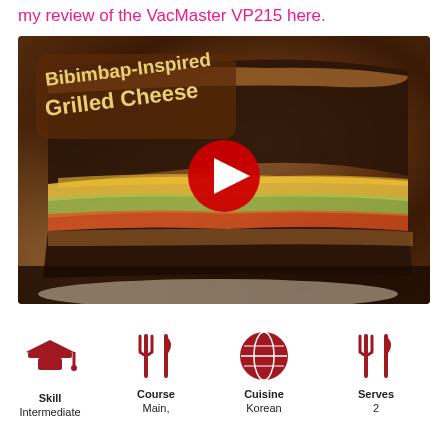my review of the VacMaster VP215 here.
[Figure (screenshot): YouTube video thumbnail for 'Bibimbap-Inspired Grilled Cheese' showing a close-up of a toasted grilled cheese sandwich with colorful fillings, overlaid with a red YouTube play button and the title text in yellow outlined font.]
[Figure (infographic): Four recipe info icons in dark red: graduation cap (Skill: Intermediate), fork and knife (Course: Main,), globe (Cuisine: Korean), fork and knife (Serves: 2)]